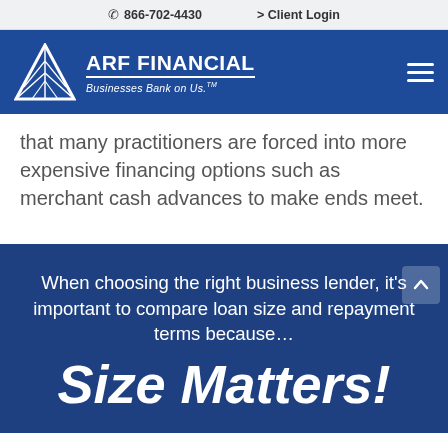866-702-4430   Client Login
[Figure (logo): ARF Financial logo with triangle/mountain icon and tagline 'Businesses Bank on Us.']
...that many practitioners are forced into more expensive financing options such as merchant cash advances to make ends meet.
When choosing the right business lender, it's important to compare loan size and repayment terms because…
Size Matters!